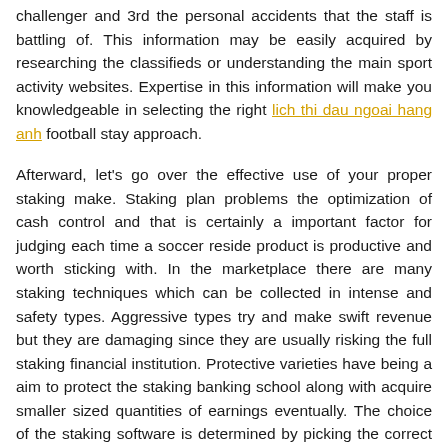challenger and 3rd the personal accidents that the staff is battling of. This information may be easily acquired by researching the classifieds or understanding the main sport activity websites. Expertise in this information will make you knowledgeable in selecting the right lich thi dau ngoai hang anh football stay approach.
Afterward, let's go over the effective use of your proper staking make. Staking plan problems the optimization of cash control and that is certainly a important factor for judging each time a soccer reside product is productive and worth sticking with. In the marketplace there are many staking techniques which can be collected in intense and safety types. Aggressive types try and make swift revenue but they are damaging since they are usually risking the full staking financial institution. Protective varieties have being a aim to protect the staking banking school along with acquire smaller sized quantities of earnings eventually. The choice of the staking software is determined by picking the correct Football live strategy.